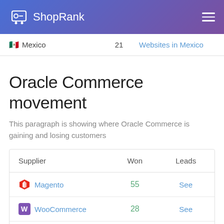ShopRank
|  | 21 | Websites in Mexico |
| --- | --- | --- |
| 🇲🇽 Mexico | 21 | Websites in Mexico |
Oracle Commerce movement
This paragraph is showing where Oracle Commerce is gaining and losing customers
| Supplier | Won | Leads |
| --- | --- | --- |
| Magento | 55 | See |
| WooCommerce | 28 | See |
| Shopify | 9 | See |
|  | 8 | See |